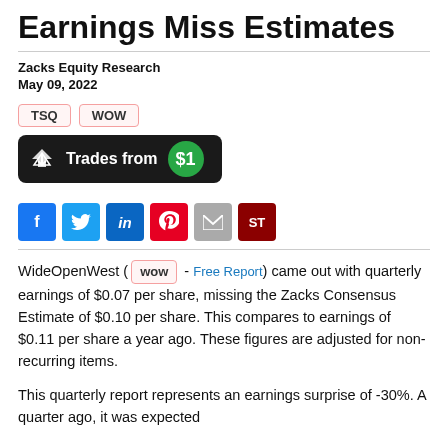Earnings Miss Estimates
Zacks Equity Research
May 09, 2022
TSQ  WOW (ticker badges)
[Figure (infographic): Dark rounded rectangle promo banner with share icon, text 'Trades from', and green circle with '$1']
[Figure (infographic): Row of social sharing buttons: Facebook, Twitter, LinkedIn, Pinterest, Email, ST]
WideOpenWest ( WOW - Free Report ) came out with quarterly earnings of $0.07 per share, missing the Zacks Consensus Estimate of $0.10 per share. This compares to earnings of $0.11 per share a year ago. These figures are adjusted for non-recurring items.
This quarterly report represents an earnings surprise of -30%. A quarter ago, it was expected